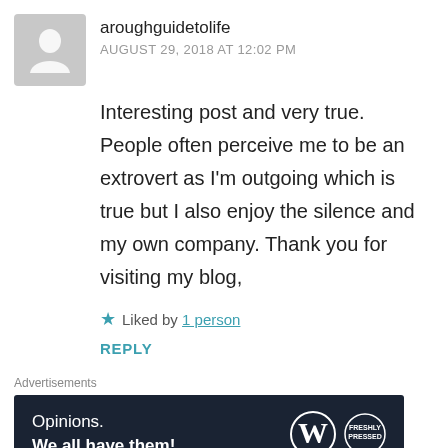aroughguidetolife
AUGUST 29, 2018 AT 12:02 PM
Interesting post and very true. People often perceive me to be an extrovert as I'm outgoing which is true but I also enjoy the silence and my own company. Thank you for visiting my blog,
Liked by 1 person
REPLY
Advertisements
[Figure (other): Advertisement banner with dark navy background. Left side shows text 'Opinions. We all have them!' in white. Right side shows WordPress logo (W in circle) and a circular badge logo.]
REPORT THIS AD
Nat